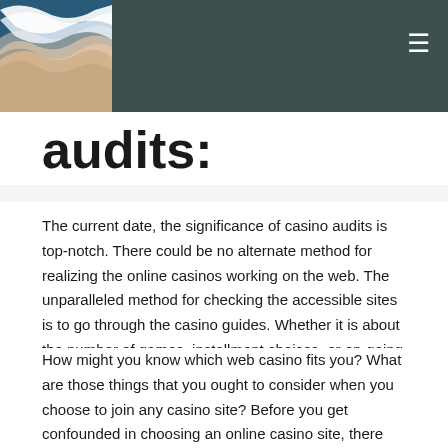audits:
audits:
The current date, the significance of casino audits is top-notch. There could be no alternate method for realizing the online casinos working on the web. The unparalleled method for checking the accessible sites is to go through the casino guides. Whether it is about the number of games, installment choices, or on-going advancements, a casino guide achieves exhaustive data in general.
How might you know which web casino fits you? What are those things that you ought to consider when you choose to join any casino site? Before you get confounded in choosing an online casino site, there are not many significant hints normally shrouded in any casino guide. However, go through these focuses, and it will become